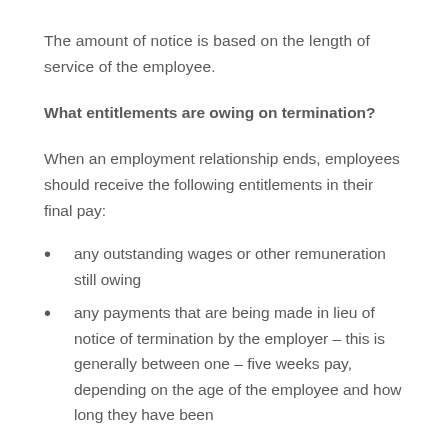The amount of notice is based on the length of service of the employee.
What entitlements are owing on termination?
When an employment relationship ends, employees should receive the following entitlements in their final pay:
any outstanding wages or other remuneration still owing
any payments that are being made in lieu of notice of termination by the employer – this is generally between one – five weeks pay, depending on the age of the employee and how long they have been